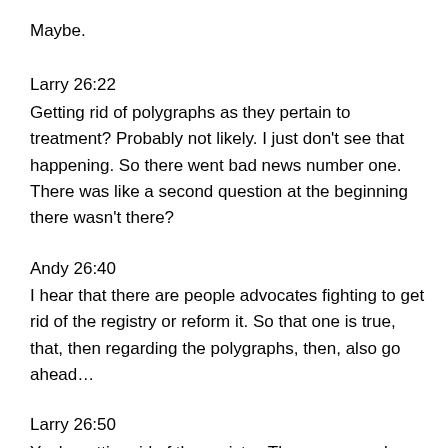Maybe.
Larry 26:22
Getting rid of polygraphs as they pertain to treatment? Probably not likely. I just don’t see that happening. So there went bad news number one. There was like a second question at the beginning there wasn’t there?
Andy 26:40
I hear that there are people advocates fighting to get rid of the registry or reform it. So that one is true, that, then regarding the polygraphs, then, also go ahead…
Larry 26:50
Yeah, getting rid of the registry. There are people